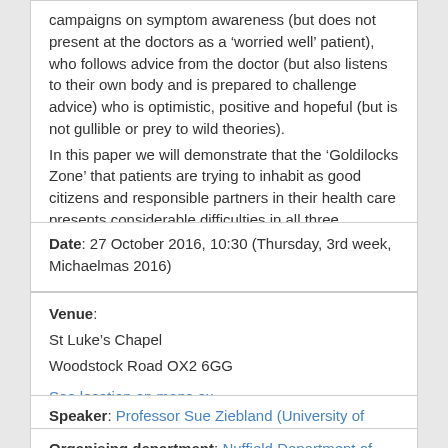campaigns on symptom awareness (but does not present at the doctors as a 'worried well' patient), who follows advice from the doctor (but also listens to their own body and is prepared to challenge advice) who is optimistic, positive and hopeful (but is not gullible or prey to wild theories).
In this paper we will demonstrate that the 'Goldilocks Zone' that patients are trying to inhabit as good citizens and responsible partners in their health care presents considerable difficulties in all three countries.
Date: 27 October 2016, 10:30 (Thursday, 3rd week, Michaelmas 2016)
Venue:
St Luke's Chapel
Woodstock Road OX2 6GG

See location on maps.ox
Speaker: Professor Sue Ziebland (University of Oxford)
Organising department: Nuffield Department of Primary